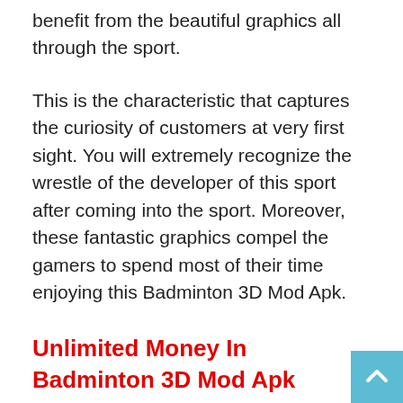benefit from the beautiful graphics all through the sport.
This is the characteristic that captures the curiosity of customers at very first sight. You will extremely recognize the wrestle of the developer of this sport after coming into the sport. Moreover, these fantastic graphics compel the gamers to spend most of their time enjoying this Badminton 3D Mod Apk.
Unlimited Money In Badminton 3D Mod Apk Latest:
Badminton 3D Mod Apk affords limitless cash to all of its customers. This limitless cash specifies the sport forex at present getting used within the sport. In this manner, the gamers won't wrestle laborious to get this cash. Rather any of the gamers can take pleasure in very easy gameplay with the help of this cash.